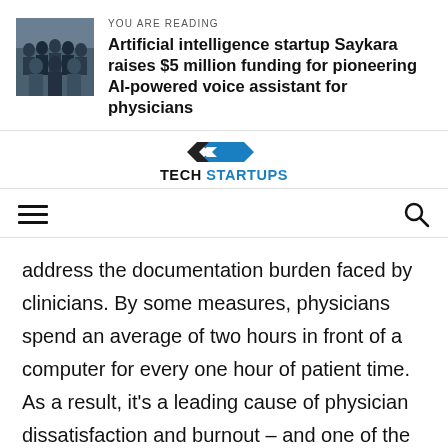[Figure (photo): Group photo of people, likely a team photo for Saykara startup]
YOU ARE READING
Artificial intelligence startup Saykara raises $5 million funding for pioneering AI-powered voice assistant for physicians
[Figure (logo): Tech Startups logo with blue arrow/chevron graphic above 'TECH STARTUPS' text]
[Figure (infographic): Navigation bar with hamburger menu icon on left and search icon on right]
address the documentation burden faced by clinicians. By some measures, physicians spend an average of two hours in front of a computer for every one hour of patient time. As a result, it's a leading cause of physician dissatisfaction and burnout – and one of the most pressing problems facing the healthcare industry today. By leveraging